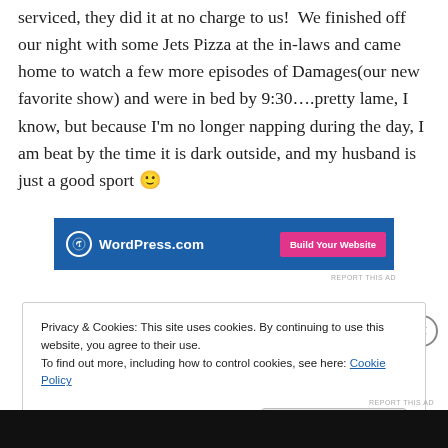serviced, they did it at no charge to us!  We finished off our night with some Jets Pizza at the in-laws and came home to watch a few more episodes of Damages(our new favorite show) and were in bed by 9:30…..pretty lame, I know, but because I'm no longer napping during the day, I am beat by the time it is dark outside, and my husband is just a good sport 🙂
[Figure (screenshot): WordPress.com advertisement banner with blue background, WordPress logo on left, and pink 'Build Your Website' button on right]
REPORT THIS AD
Privacy & Cookies: This site uses cookies. By continuing to use this website, you agree to their use.
To find out more, including how to control cookies, see here: Cookie Policy
Close and accept